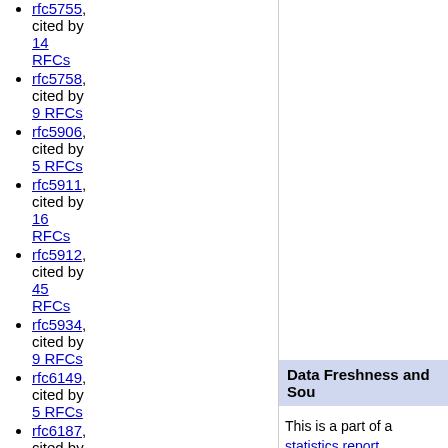rfc5755, cited by 14 RFCs
rfc5758, cited by 9 RFCs
rfc5906, cited by 5 RFCs
rfc5911, cited by 16 RFCs
rfc5912, cited by 45 RFCs
rfc5934, cited by 9 RFCs
rfc6149, cited by 5 RFCs
rfc6187, cited by 7 RFCs
rfc6193,
Data Freshness and Sou
This is a part of a statistics report
All data in this report is retrieved published at the IETF. The tool a however.